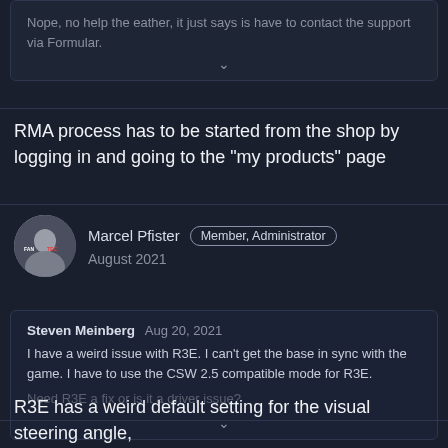Nope, no help the eather, it just says is have to contact the support via Formular.
RMA process has to be started from the shop by logging in and going to the "my products" page
Marcel Pfister  Member, Administrator  August 2021
Steven Meinberg  Aug 20, 2021
I have a weird issue with R3E. I can't get the base in sync with the game. I have to use the CSW 2.5 compatible mode for R3E.
Need R3E a fix or is it a driver issue?
R3E has a weird default setting for the visual steering angle,